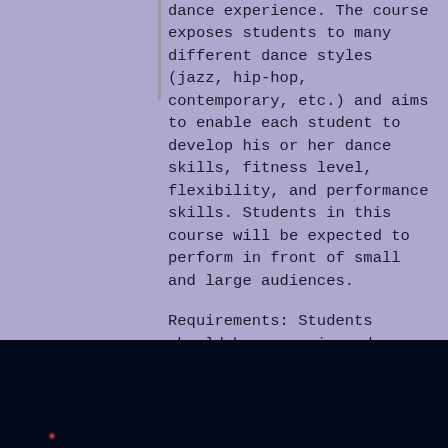dance experience. The course exposes students to many different dance styles (jazz, hip-hop, contemporary, etc.) and aims to enable each student to develop his or her dance skills, fitness level, flexibility, and performance skills. Students in this course will be expected to perform in front of small and large audiences.
Requirements: Students should have previous dance studio experience or relevant experience, such as gymnastics, figure skating, cheer or cultural dance. Students without any experience are directed to take Dance Foundations.
[Figure (photo): Dark stage photo with a small red light/glow visible at the bottom left area, appearing to be a performance venue in low light.]